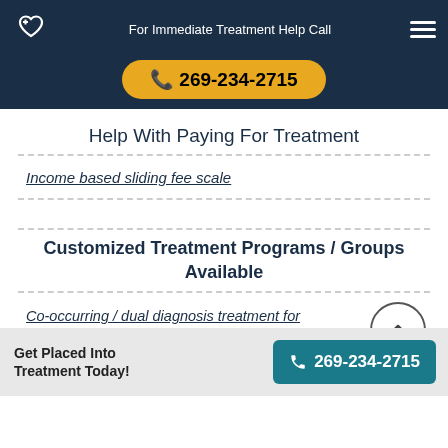For Immediate Treatment Help Call 269-234-2715
Help With Paying For Treatment
Income based sliding fee scale
Customized Treatment Programs / Groups Available
Co-occurring / dual diagnosis treatment for addiction
Seniors / elderly treatment for addiction
Get Placed Into Treatment Today! 269-234-2715